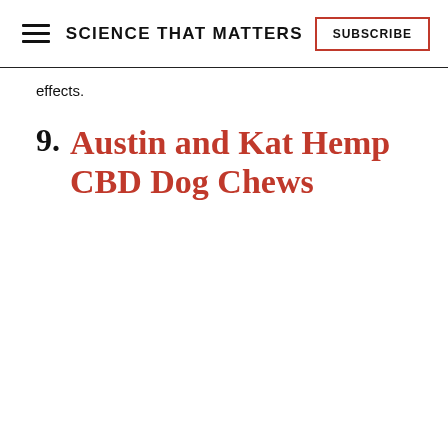SCIENCE THAT MATTERS | SUBSCRIBE
effects.
9. Austin and Kat Hemp CBD Dog Chews